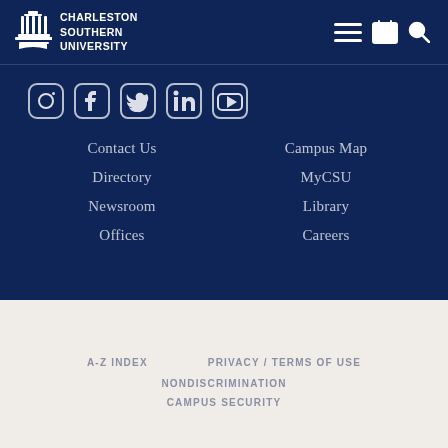[Figure (logo): Charleston Southern University logo with building icon and text]
[Figure (infographic): Navigation icons: hamburger menu, calendar grid, search magnifier]
[Figure (infographic): Social media icons: Instagram, Facebook, Twitter, LinkedIn, YouTube]
Contact Us
Campus Map
Directory
MyCSU
Newsroom
Library
Offices
Careers
A-Z INDEX    PRIVACY / TERMS OF USE    NONDISCRIMINATION    CAMPUS SECURITY